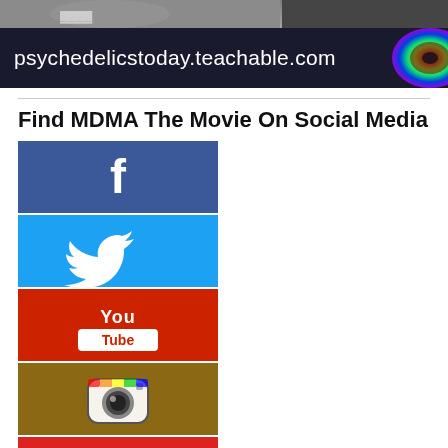[Figure (photo): Top cropped photo strip showing people]
[Figure (screenshot): Dark banner with text 'psychedelicstoday.teachable.com' and a colorful circular graphic on the right]
Find MDMA The Movie On Social Media
[Figure (logo): Facebook social media button - blue background with white 'f' logo]
[Figure (logo): Twitter social media button - cyan/sky blue background with white bird logo]
[Figure (logo): YouTube social media button - red background with YouTube logo text]
[Figure (logo): Instagram social media button - brown/tan background with Instagram camera logo]
[Figure (logo): Google+ social media button - red background with white g+ logo]
About Emanuel Sfarios